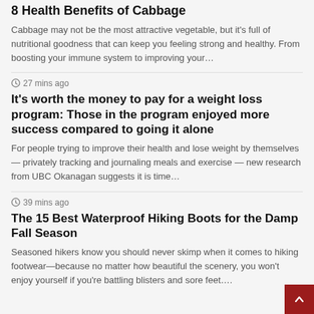8 Health Benefits of Cabbage
Cabbage may not be the most attractive vegetable, but it’s full of nutritional goodness that can keep you feeling strong and healthy. From boosting your immune system to improving your…
27 mins ago
It’s worth the money to pay for a weight loss program: Those in the program enjoyed more success compared to going it alone
For people trying to improve their health and lose weight by themselves — privately tracking and journaling meals and exercise — new research from UBC Okanagan suggests it is time…
39 mins ago
The 15 Best Waterproof Hiking Boots for the Damp Fall Season
Seasoned hikers know you should never skimp when it comes to hiking footwear—because no matter how beautiful the scenery, you won’t enjoy yourself if you’re battling blisters and sore feet….